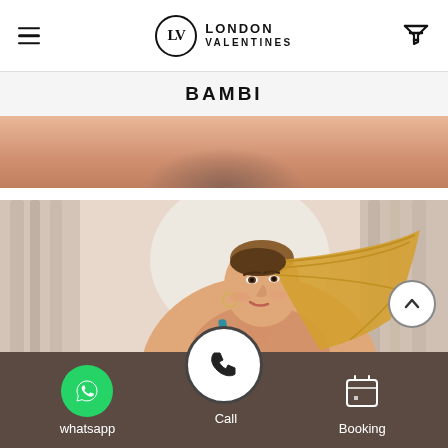London Valentines
BAMBI
[Figure (photo): Partial photo of a person on a warm-toned background]
[Figure (photo): Young blonde woman with high ponytail, wearing teal swimwear, posed in front of light curtains]
whatsapp
Call
Booking